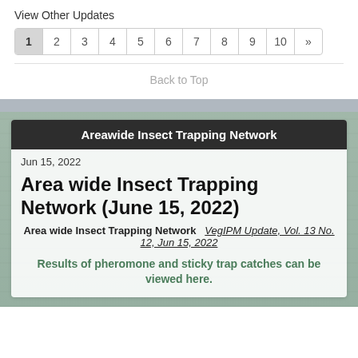View Other Updates
| 1 | 2 | 3 | 4 | 5 | 6 | 7 | 8 | 9 | 10 | » |
| --- | --- | --- | --- | --- | --- | --- | --- | --- | --- | --- |
Back to Top
Areawide Insect Trapping Network
Jun 15, 2022
Area wide Insect Trapping Network (June 15, 2022)
Area wide Insect Trapping Network   VegIPM Update, Vol. 13 No. 12, Jun 15, 2022
Results of pheromone and sticky trap catches can be viewed here.